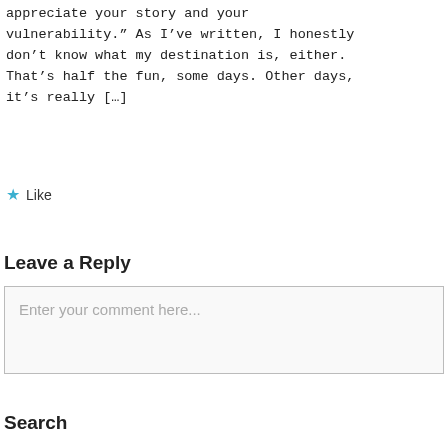appreciate your story and your vulnerability.” As I’ve written, I honestly don’t know what my destination is, either. That’s half the fun, some days. Other days, it’s really […]
★ Like
Leave a Reply
Enter your comment here...
Search